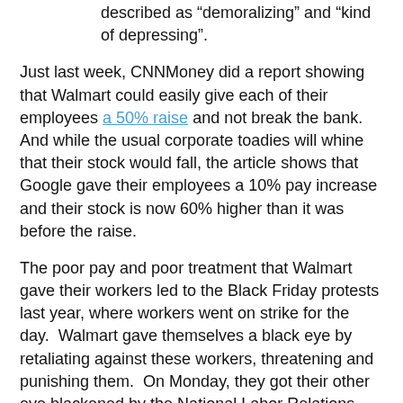described as “demoralizing” and “kind of depressing”.
Just last week, CNNMoney did a report showing that Walmart could easily give each of their employees a 50% raise and not break the bank. And while the usual corporate toadies will whine that their stock would fall, the article shows that Google gave their employees a 10% pay increase and their stock is now 60% higher than it was before the raise.
The poor pay and poor treatment that Walmart gave their workers led to the Black Friday protests last year, where workers went on strike for the day.  Walmart gave themselves a black eye by retaliating against these workers, threatening and punishing them.  On Monday, they got their other eye blackened by the National Labor Relations Board, who found that they had done so illegally and would be pursuing charges.
But it is not just Walmart that is the problem.  There has been a systematic failure in our economy in which large corporations are maltreating and underpaying their